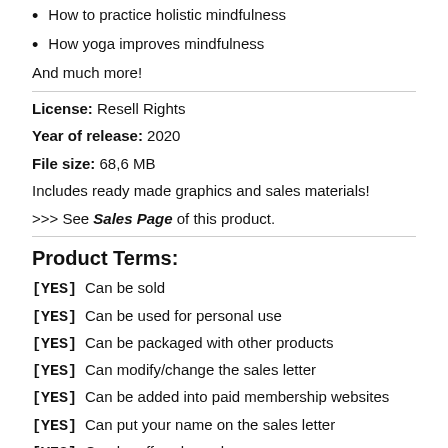How to practice holistic mindfulness
How yoga improves mindfulness
And much more!
License: Resell Rights
Year of release: 2020
File size: 68,6 MB
Includes ready made graphics and sales materials!
>>> See Sales Page of this product.
Product Terms:
[YES] Can be sold
[YES] Can be used for personal use
[YES] Can be packaged with other products
[YES] Can modify/change the sales letter
[YES] Can be added into paid membership websites
[YES] Can put your name on the sales letter
[YES] Can be offered as a bonus
[YES] Can be used to build a list